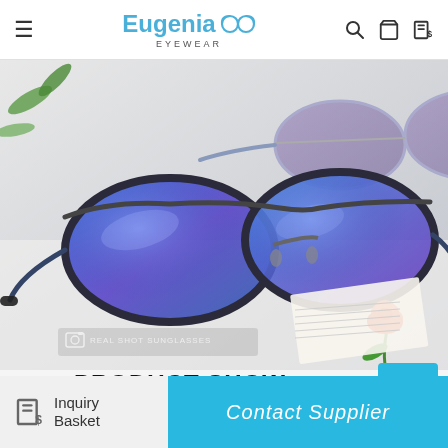Eugenia Eyewear – navigation header with hamburger menu, logo, search, cart, and inquiry basket icons
[Figure (photo): Product photo of aviator sunglasses with blue mirrored lenses on a white surface, with a rose and open book in background. Caption overlay reads 'REAL SHOT SUNGLASSES'.]
PRODUCT SHOW
ANGLE DISPLAY
Inquiry Basket
Contact Supplier